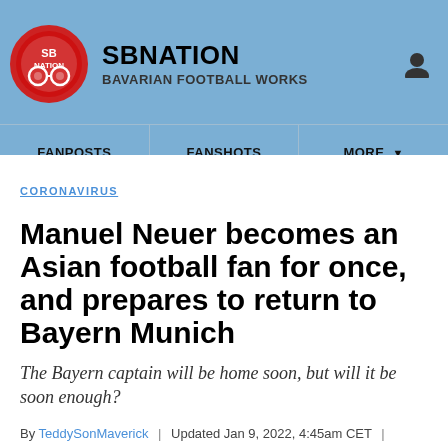SBNATION BAVARIAN FOOTBALL WORKS
FANPOSTS  FANSHOTS  MORE
CORONAVIRUS
Manuel Neuer becomes an Asian football fan for once, and prepares to return to Bayern Munich
The Bayern captain will be home soon, but will it be soon enough?
By TeddySonMaverick | Updated Jan 9, 2022, 4:45am CET | 2 Comments / 2 New